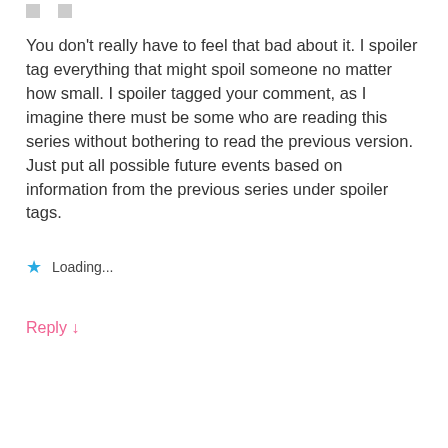You don't really have to feel that bad about it. I spoiler tag everything that might spoil someone no matter how small. I spoiler tagged your comment, as I imagine there must be some who are reading this series without bothering to read the previous version. Just put all possible future events based on information from the previous series under spoiler tags.
Loading...
Reply ↓